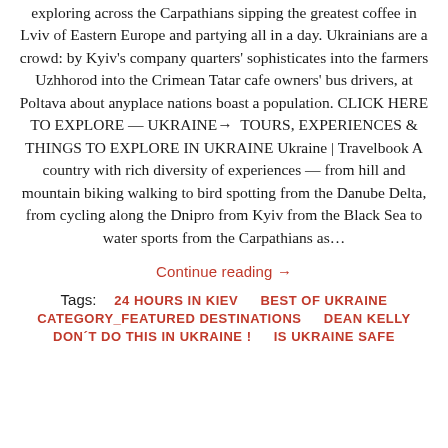exploring across the Carpathians sipping the greatest coffee in Lviv of Eastern Europe and partying all in a day. Ukrainians are a crowd: by Kyiv's company quarters' sophisticates into the farmers Uzhhorod into the Crimean Tatar cafe owners' bus drivers, at Poltava about anyplace nations boast a population. CLICK HERE TO EXPLORE — UKRAINE→ TOURS, EXPERIENCES & THINGS TO EXPLORE IN UKRAINE Ukraine | Travelbook A country with rich diversity of experiences — from hill and mountain biking walking to bird spotting from the Danube Delta, from cycling along the Dnipro from Kyiv from the Black Sea to water sports from the Carpathians as…
Continue reading →
Tags: 24 HOURS IN KIEV   BEST OF UKRAINE   CATEGORY_FEATURED DESTINATIONS   DEAN KELLY   DON´T DO THIS IN UKRAINE !   IS UKRAINE SAFE